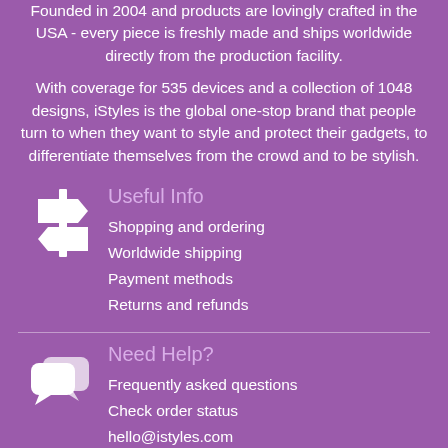Founded in 2004 and products are lovingly crafted in the USA - every piece is freshly made and ships worldwide directly from the production facility.
With coverage for 535 devices and a collection of 1048 designs, iStyles is the global one-stop brand that people turn to when they want to style and protect their gadgets, to differentiate themselves from the crowd and to be stylish.
Useful Info
Shopping and ordering
Worldwide shipping
Payment methods
Returns and refunds
Need Help?
Frequently asked questions
Check order status
hello@istyles.com
Contact us